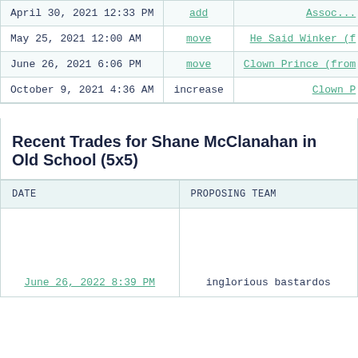| DATE | ACTION | TEAM |
| --- | --- | --- |
| April 30, 2021 12:33 PM | add | Assoc... |
| May 25, 2021 12:00 AM | move | He Said Winker (f... |
| June 26, 2021 6:06 PM | move | Clown Prince (from... |
| October 9, 2021 4:36 AM | increase | Clown P... |
Recent Trades for Shane McClanahan in Old School (5x5)
| DATE | PROPOSING TEAM |
| --- | --- |
| June 26, 2022 8:39 PM | inglorious bastardos |